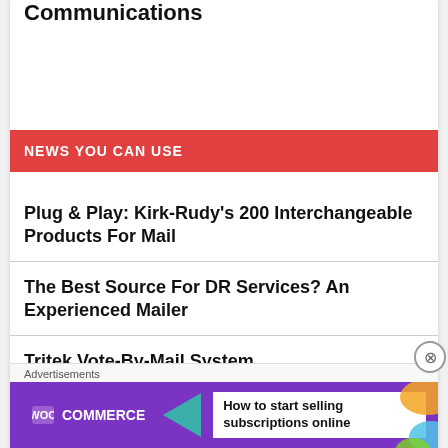Communications
NEWS YOU CAN USE
Plug & Play: Kirk-Rudy's 200 Interchangeable Products For Mail
The Best Source For DR Services? An Experienced Mailer
Tritek Vote-By-Mail System
Advertisements
[Figure (other): WooCommerce advertisement banner: How to start selling subscriptions online]